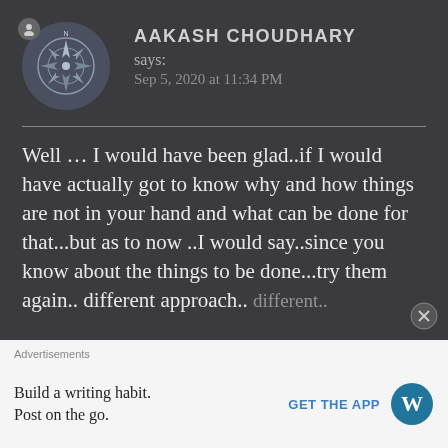AAKASH CHOUDHARY
says:
Sep 5, 2020 at 11:34 PM
Well … I would have been glad..if I would have actually got to know why and how things are not in your hand and what can be done for that...but as to now ..I would say..since you know about the things to be done...try them again.. different approach.. different..
Advertisements
Build a writing habit. Post on the go.
GET THE APP